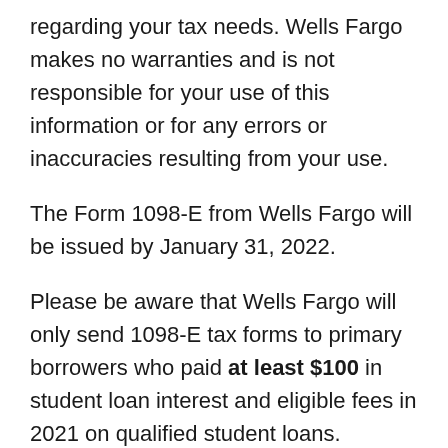regarding your tax needs. Wells Fargo makes no warranties and is not responsible for your use of this information or for any errors or inaccuracies resulting from your use.
The Form 1098-E from Wells Fargo will be issued by January 31, 2022.
Please be aware that Wells Fargo will only send 1098-E tax forms to primary borrowers who paid at least $100 in student loan interest and eligible fees in 2021 on qualified student loans.
Taxpayers who itemize their tax returns file these forms with are baby tomatoes good for